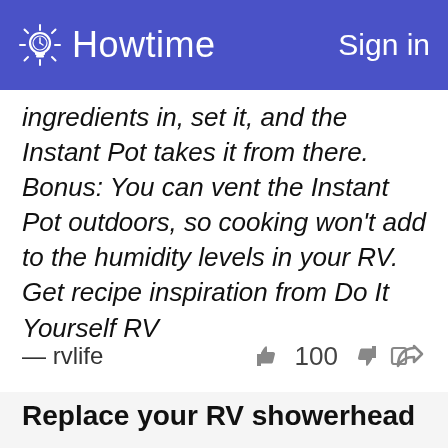Howtime   Sign in
ingredients in, set it, and the Instant Pot takes it from there.  Bonus: You can vent the Instant Pot outdoors, so cooking won't add to the humidity levels in your RV. Get recipe inspiration from Do It Yourself RV
— rvlife   100
Replace your RV showerhead
This article will help...